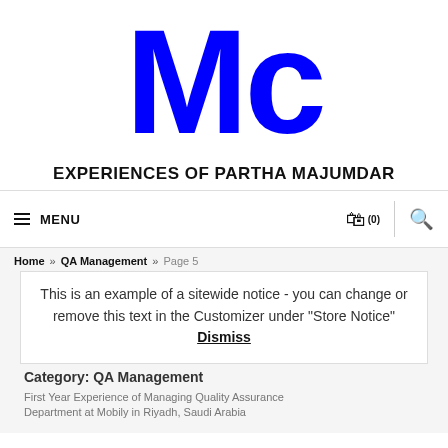[Figure (logo): MC logo in large blue bold letters]
EXPERIENCES OF PARTHA MAJUMDAR
≡ MENU  (0) 🔍
Home » QA Management » Page 5
This is an example of a sitewide notice - you can change or remove this text in the Customizer under "Store Notice" Dismiss
Category: QA Management
First Year Experience of Managing Quality Assurance Department at Mobily in Riyadh, Saudi Arabia